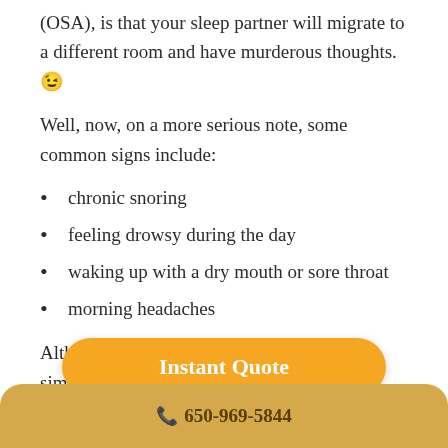(OSA), is that your sleep partner will migrate to a different room and have murderous thoughts. 😉
Well, now, on a more serious note, some common signs include:
chronic snoring
feeling drowsy during the day
waking up with a dry mouth or sore throat
morning headaches
Although this short acronym (OSA) looks simple, it conceals a [obscured] disease.
📞 650-969-5844